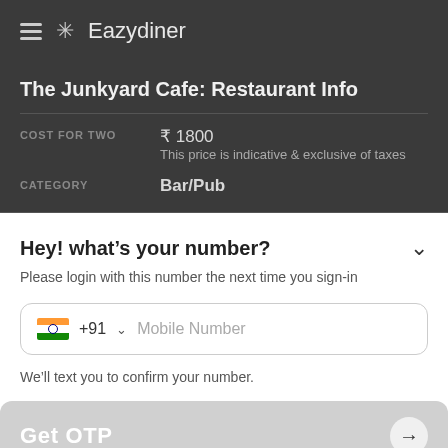Eazydiner
The Junkyard Cafe: Restaurant Info
COST FOR TWO
₹ 1800
This price is indicative & exclusive of taxes
CATEGORY
Bar/Pub
Hey! what's your number?
Please login with this number the next time you sign-in
+91  Mobile Number
We'll text you to confirm your number.
Get OTP